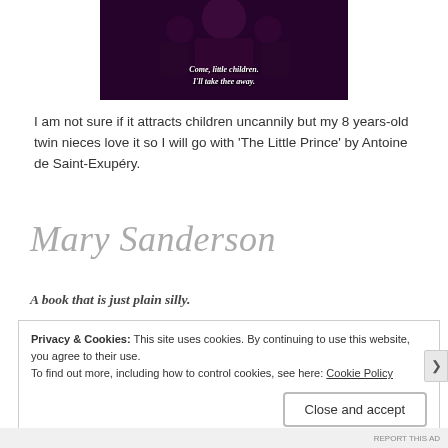[Figure (photo): Dark theatrical photo with a figure and two others; white italic text overlay reads: Come, little children. I'll take thee away.]
I am not sure if it attracts children uncannily but my 8 years-old twin nieces love it so I will go with 'The Little Prince' by Antoine de Saint-Exupéry.
Mary Sanderson
A book that is just plain silly.
Privacy & Cookies: This site uses cookies. By continuing to use this website, you agree to their use. To find out more, including how to control cookies, see here: Cookie Policy Close and accept
REPORT THIS AD